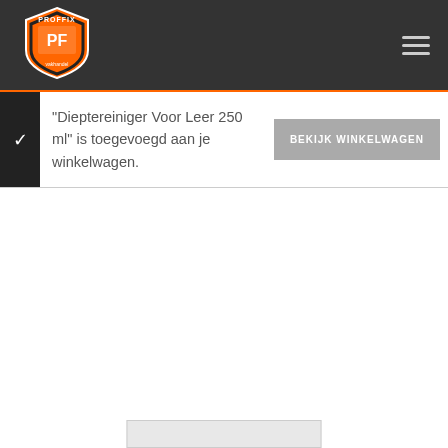[Figure (logo): Proffix vakhandel logo — orange shield with white PF letters and text 'vakhandel']
"Dieptereiniger Voor Leer 250 ml" is toegevoegd aan je winkelwagen.
BEKIJK WINKELWAGEN